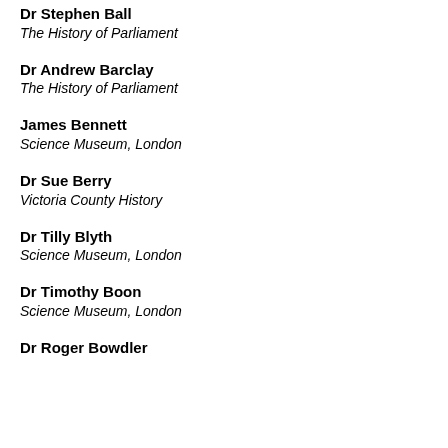Dr Stephen Ball
The History of Parliament
Dr Andrew Barclay
The History of Parliament
James Bennett
Science Museum, London
Dr Sue Berry
Victoria County History
Dr Tilly Blyth
Science Museum, London
Dr Timothy Boon
Science Museum, London
Dr Roger Bowdler